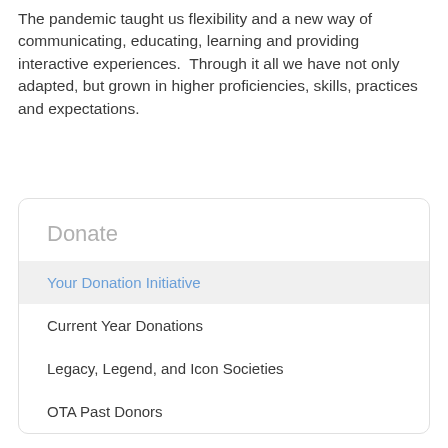The pandemic taught us flexibility and a new way of communicating, educating, learning and providing interactive experiences.  Through it all we have not only adapted, but grown in higher proficiencies, skills, practices and expectations.
Donate
Your Donation Initiative
Current Year Donations
Legacy, Legend, and Icon Societies
OTA Past Donors
Corporate and Foundation Donors